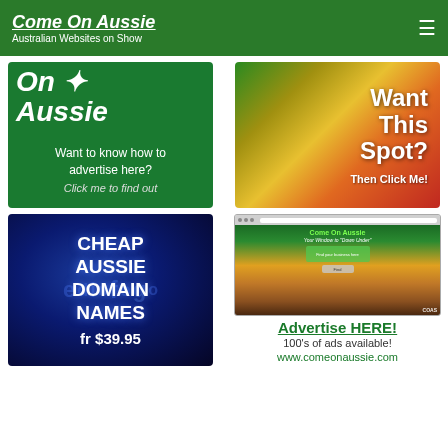Come On Aussie — Australian Websites on Show
[Figure (illustration): Green advertisement banner: Come On Aussie — Want to know how to advertise here? Click me to find out]
[Figure (illustration): Colorful gradient spot advertisement: Want This Spot? Then Click Me!]
[Figure (illustration): Dark blue advertisement for Cheap Aussie Domain Names fr $39.95]
[Figure (screenshot): Screenshot of Come On Aussie website]
Advertise HERE!
100's of ads available!
www.comeonaussie.com